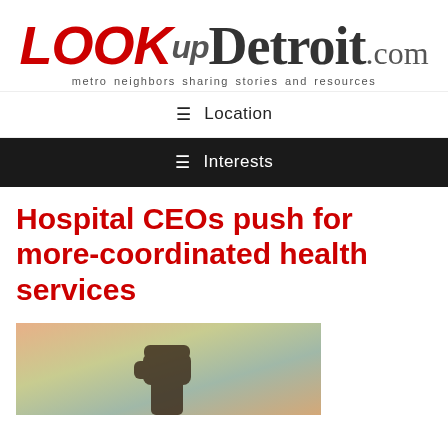[Figure (logo): LOOKupDetroit.com logo with tagline 'metro neighbors sharing stories and resources']
≡ Location
≡ Interests
Hospital CEOs push for more-coordinated health services
[Figure (photo): A raised fist silhouette against a warm blurred background of orange, green and teal tones]